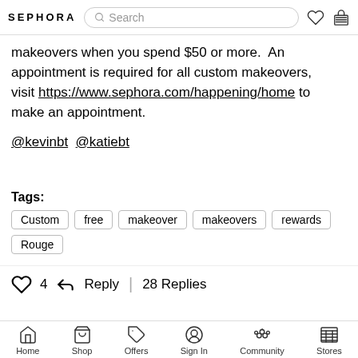SEPHORA  Search
makeovers when you spend $50 or more.  An appointment is required for all custom makeovers, visit https://www.sephora.com/happening/home to make an appointment.
@kevinbt @katiebt
Tags: Custom  free  makeover  makeovers  rewards  Rouge
4  Reply | 28 Replies
Home  Shop  Offers  Sign In  Community  Stores